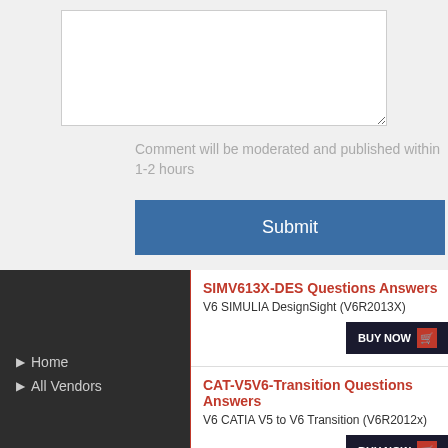Comment will be moderated and published within 1-2 hours
Submit
SIMV613X-DES Questions Answers
V6 SIMULIA DesignSight (V6R2013X)
BUY NOW
CAT-V5V6-Transition Questions Answers
V6 CATIA V5 to V6 Transition (V6R2012x)
BUY NOW
Home
All Vendors